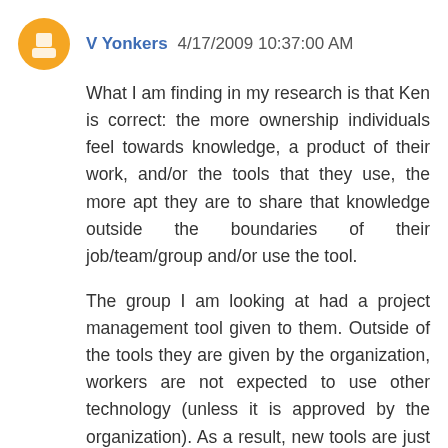V Yonkers  4/17/2009 10:37:00 AM
What I am finding in my research is that Ken is correct: the more ownership individuals feel towards knowledge, a product of their work, and/or the tools that they use, the more apt they are to share that knowledge outside the boundaries of their job/team/group and/or use the tool.
The group I am looking at had a project management tool given to them. Outside of the tools they are given by the organization, workers are not expected to use other technology (unless it is approved by the organization). As a result, new tools are just an extension of what they are currently using and yet another "something" to learn how to use when their current tools are doing the job just right, thank-you very much! As a result, they initially use the new tool (as instructed) then when they can demonstrate they put enough effort in and the tool isn't working (as the Manager decides) they stop using it.
I think there needs to be a basket of tools that employees can use, a process for groups to decide the protocols for